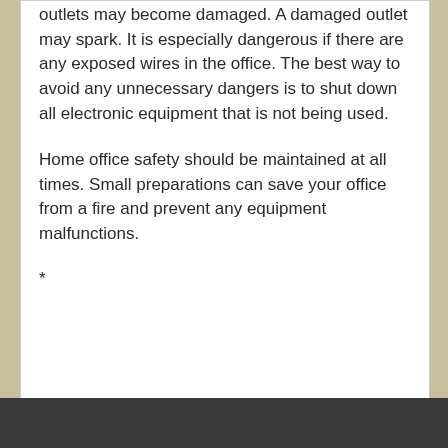outlets may become damaged. A damaged outlet may spark. It is especially dangerous if there are any exposed wires in the office. The best way to avoid any unnecessary dangers is to shut down all electronic equipment that is not being used.
Home office safety should be maintained at all times. Small preparations can save your office from a fire and prevent any equipment malfunctions.
*
Filed Under: Blog